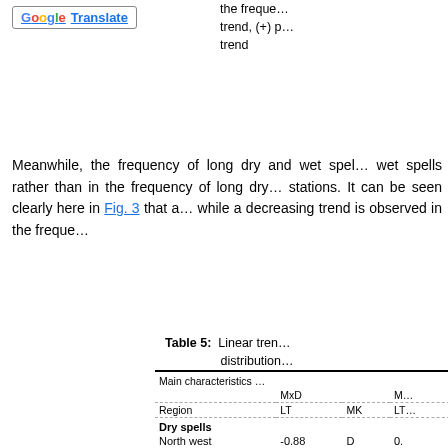[Figure (logo): Google Translate button with G logo and underlined Translate text]
the frequency of long dry and wet spells trend, (+) positive trend, (-) negative trend
Meanwhile, the frequency of long dry and wet spells... wet spells rather than in the frequency of long dry... stations. It can be seen clearly here in Fig. 3 that a... while a decreasing trend is observed in the freque...
Table 5: Linear trends in distribution...
| Region | MxD LT | MxD MK | M LT |
| --- | --- | --- | --- |
| Dry spells |  |  |  |
| North west | -0.88 | D | 0. |
| West | -0.54 | D | -0. |
| South | 1.10 | I | 0. |
| East | -1.09 | D | -0. |
| Main characteristics |  |  |  |
| MxW |  |  | M |